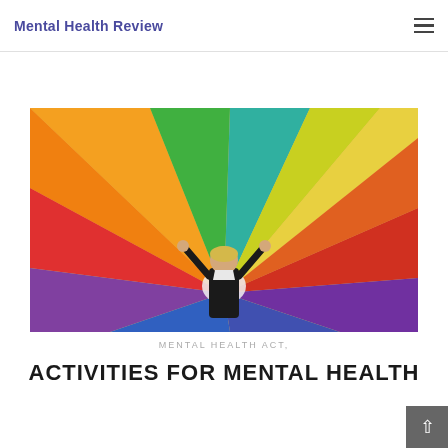Mental Health Review
[Figure (photo): Child with arms raised under a large colorful rainbow parachute fabric, viewed from below looking up. The parachute displays vivid sections of orange, red, purple, blue, green, teal, and yellow radiating from the center.]
MENTAL HEALTH ACT,
ACTIVITIES FOR MENTAL HEALTH